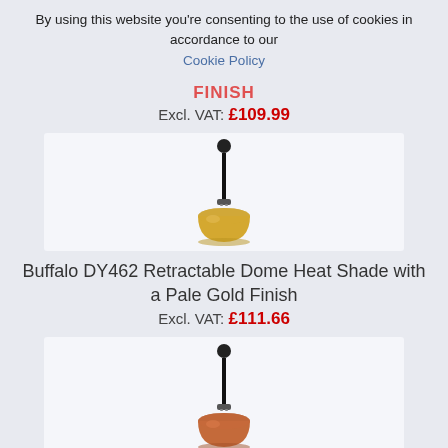By using this website you're consenting to the use of cookies in accordance to our Cookie Policy
FINISH
Excl. VAT: £109.99
[Figure (photo): Pendant heat lamp shade with pale gold dome and black retractable cord]
Buffalo DY462 Retractable Dome Heat Shade with a Pale Gold Finish
Excl. VAT: £111.66
[Figure (photo): Pendant heat lamp shade with copper dome and black retractable cord]